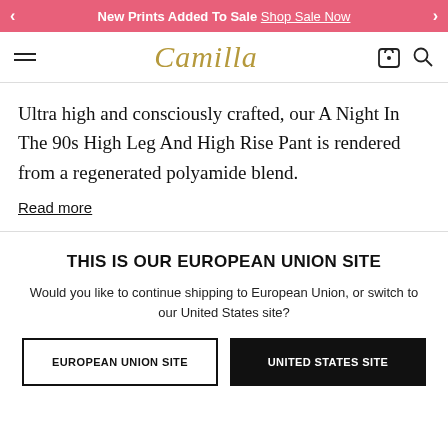New Prints Added To Sale  Shop Sale Now
[Figure (logo): Camilla brand logo in gold italic script]
Ultra high and consciously crafted, our A Night In The 90s High Leg And High Rise Pant is rendered from a regenerated polyamide blend.
Read more
THIS IS OUR EUROPEAN UNION SITE
Would you like to continue shipping to European Union, or switch to our United States site?
EUROPEAN UNION SITE  UNITED STATES SITE